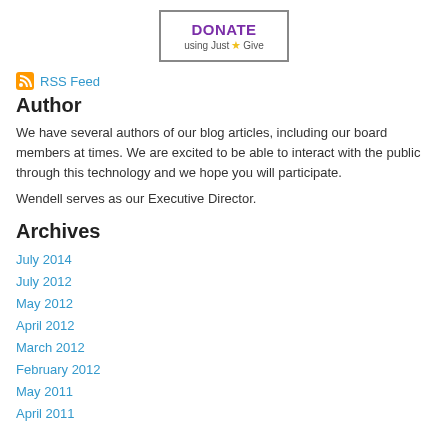[Figure (logo): Donate using JustGive banner with purple bold DONATE text and star logo]
RSS Feed
Author
We have several authors of our blog articles, including our board members at times. We are excited to be able to interact with the public through this technology and we hope you will participate.
Wendell serves as our Executive Director.
Archives
July 2014
July 2012
May 2012
April 2012
March 2012
February 2012
May 2011
April 2011